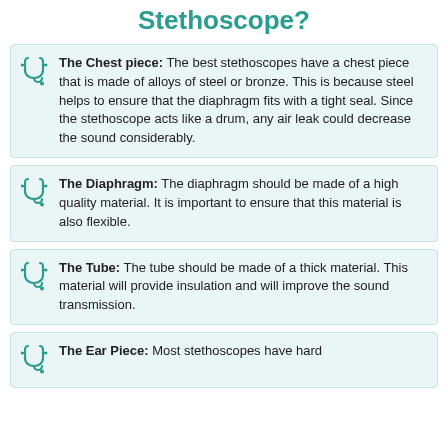Stethoscope?
The Chest piece: The best stethoscopes have a chest piece that is made of alloys of steel or bronze. This is because steel helps to ensure that the diaphragm fits with a tight seal. Since the stethoscope acts like a drum, any air leak could decrease the sound considerably.
The Diaphragm: The diaphragm should be made of a high quality material. It is important to ensure that this material is also flexible.
The Tube: The tube should be made of a thick material. This material will provide insulation and will improve the sound transmission.
The Ear Piece: Most stethoscopes have hard